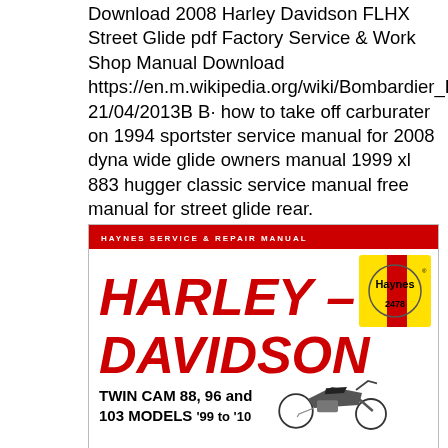Download 2008 Harley Davidson FLHX Street Glide pdf Factory Service & Work Shop Manual Download https://en.m.wikipedia.org/wiki/Bombardier_Dash_8 21/04/2013B B· how to take off carburater on 1994 sportster service manual for 2008 dyna wide glide owners manual 1999 xl 883 hugger classic service manual free manual for street glide rear.
[Figure (illustration): Haynes Service & Repair Manual book cover for Harley-Davidson Twin Cam 88, 96 and 103 Models '99 to '10, with red title text on white background and Haynes logo badge (yellow with number 2478)]